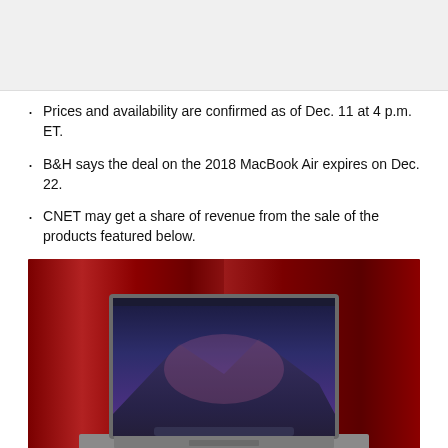[Figure (photo): Top portion of a previous page image, light gray background]
Prices and availability are confirmed as of Dec. 11 at 4 p.m. ET.
B&H says the deal on the 2018 MacBook Air expires on Dec. 22.
CNET may get a share of revenue from the sale of the products featured below.
[Figure (photo): MacBook Air laptop open on a red table with red curtain background, showing macOS Mojave wallpaper with mountain landscape]